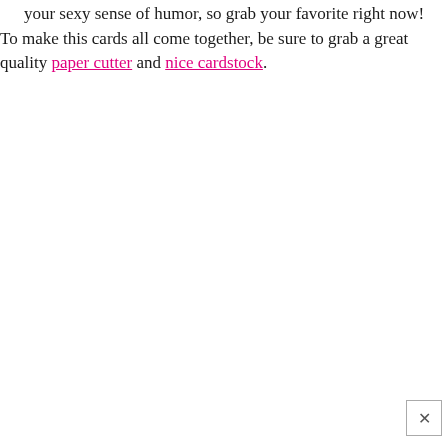your sexy sense of humor, so grab your favorite right now!

To make this cards all come together, be sure to grab a great quality paper cutter and nice cardstock.